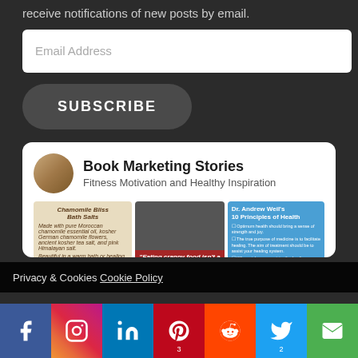receive notifications of new posts by email.
Email Address
SUBSCRIBE
[Figure (other): Book Marketing Stories Facebook widget showing page name, subtitle 'Fitness Motivation and Healthy Inspiration', and three image thumbnails: Chamomile Bliss Bath Salts, a person in red shirt with quote about eating crappy food, and Dr. Andrew Weil's 10 Principles of Health]
Privacy & Cookies Cookie Policy
[Figure (infographic): Social media sharing bar with icons for Facebook, Instagram, LinkedIn, Pinterest (count:3), Reddit, Twitter (count:2), and Email on colored backgrounds]